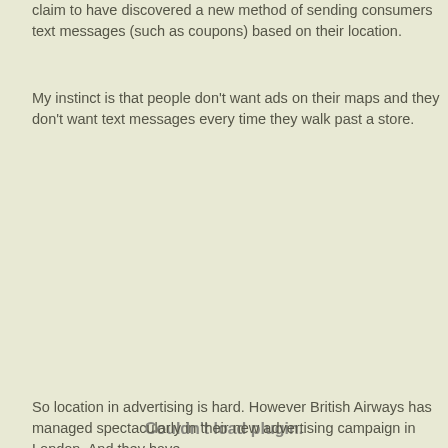claim to have discovered a new method of sending consumers text messages (such as coupons) based on their location.
My instinct is that people don't want ads on their maps and they don't want text messages every time they walk past a store.
[Figure (other): Couldn't load plugin. — placeholder area where a plugin/media element failed to load.]
So location in advertising is hard. However British Airways has managed spectacularly in their new advertising campaign in London. And they ha...